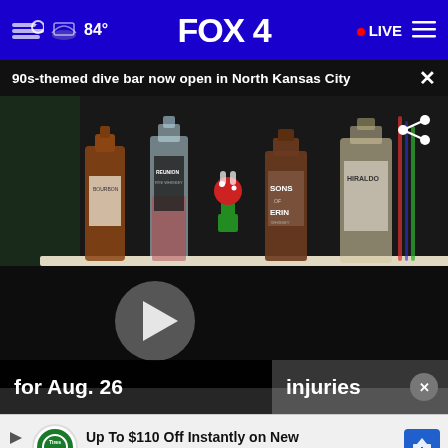84° FOX 4 • LIVE
90s-themed dive bar now open in North Kansas City
[Figure (screenshot): Video thumbnail showing liquor bottles on a bar shelf including REUNION, SONS OF ERIN, and HIRALDO bottles, with a decorative piranha plant figure. A play button is visible on the left side and a share icon on the upper right.]
for Aug. 26
injuries
Up To $110 Off Instantly on New Tires + $40 Off Alignments